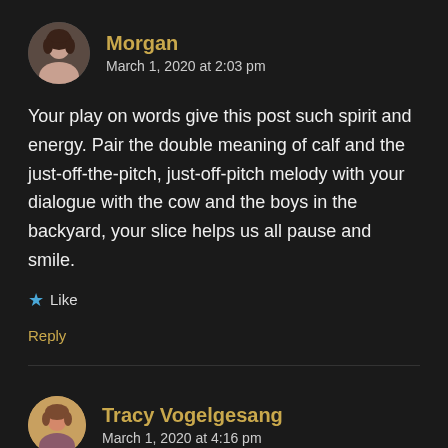Morgan
March 1, 2020 at 2:03 pm
Your play on words give this post such spirit and energy. Pair the double meaning of calf and the just-off-the-pitch, just-off-pitch melody with your dialogue with the cow and the boys in the backyard, your slice helps us all pause and smile.
★ Like
Reply
Tracy Vogelgesang
March 1, 2020 at 4:16 pm